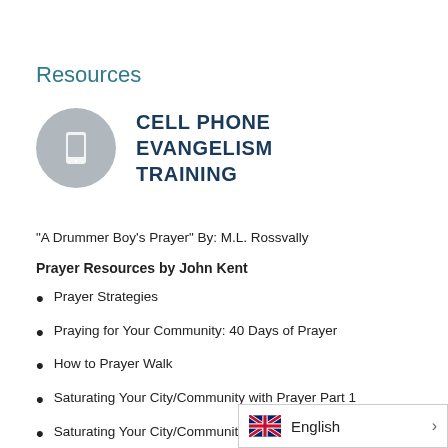Resources
[Figure (other): Gray circle icon with a smartphone/cell phone symbol inside]
CELL PHONE EVANGELISM TRAINING
“A Drummer Boy’s Prayer” By: M.L. Rossvally
Prayer Resources by John Kent
Prayer Strategies
Praying for Your Community: 40 Days of Prayer
How to Prayer Walk
Saturating Your City/Community with Prayer Part 1
Saturating Your City/Community